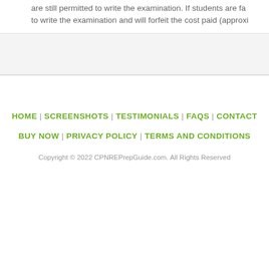are still permitted to write the examination. If students are fa... to write the examination and will forfeit the cost paid (approxi...
HOME | SCREENSHOTS | TESTIMONIALS | FAQS | CONTACT
BUY NOW | PRIVACY POLICY | TERMS AND CONDITIONS
Copyright © 2022 CPNREPrepGuide.com. All Rights Reserved